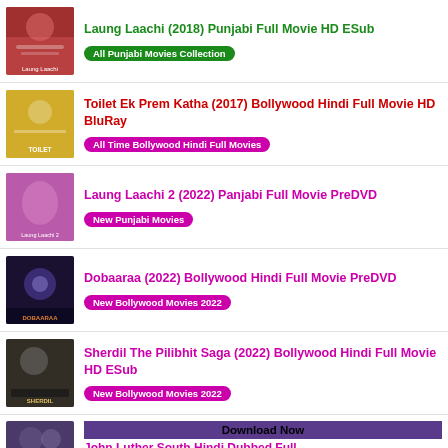Laung Laachi (2018) Punjabi Full Movie HD ESub — All Punjabi Movies Collection
Toilet Ek Prem Katha (2017) Bollywood Hindi Full Movie HD BluRay — All Time Bollywood Hindi Full Movies
Laung Laachi 2 (2022) Panjabi Full Movie PreDVD — New Punjabi Movies
Dobaaraa (2022) Bollywood Hindi Full Movie PreDVD — New Bollywood Movies 2022
Sherdil The Pilibhit Saga (2022) Bollywood Hindi Full Movie HD ESub — New Bollywood Movies 2022
Download Now | [partial] John Luther South Hindi Dubbed Full ...